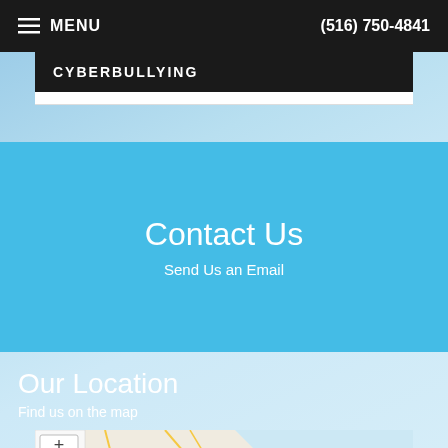≡ MENU    (516) 750-4841
CYBERBULLYING
Contact Us
Send Us an Email
Our Location
Find us on the map
[Figure (map): Street map showing Glen Cove and Huntin(gton) area with zoom controls (+ and -)]